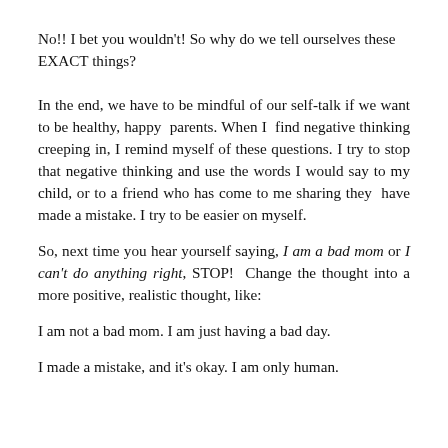No!! I bet you wouldn't! So why do we tell ourselves these EXACT things?
In the end, we have to be mindful of our self-talk if we want to be healthy, happy parents. When I find negative thinking creeping in, I remind myself of these questions. I try to stop that negative thinking and use the words I would say to my child, or to a friend who has come to me sharing they have made a mistake. I try to be easier on myself.
So, next time you hear yourself saying, I am a bad mom or I can't do anything right, STOP! Change the thought into a more positive, realistic thought, like:
I am not a bad mom. I am just having a bad day.
I made a mistake, and it's okay. I am only human.